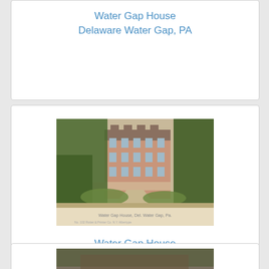Water Gap House
Delaware Water Gap, PA
[Figure (photo): Vintage postcard photograph of Water Gap House hotel in Delaware Water Gap, PA, showing a large multi-story brick building surrounded by lush gardens and trees with a pathway leading through flower beds. Caption text at bottom reads 'Water Gap House, Del. Water Gap, Pa.']
Water Gap House
Delaware Water Gap, PA
[Figure (photo): Partial view of another vintage postcard image at the bottom of the page, cut off]